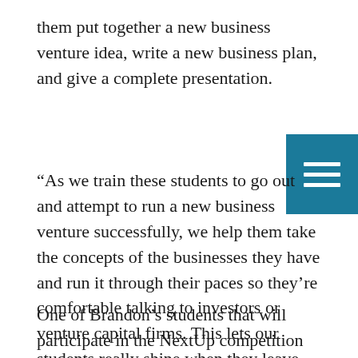them put together a new business venture idea, write a new business plan, and give a complete presentation.
“As we train these students to go out and attempt to run a new business venture successfully, we help them take the concepts of the businesses they have and run it through their paces so they’re comfortable talking to investors or venture capital firms. This lets our students really shine when they leave MC.”
One of Brandon’s students that will participate in the NextUp competition and will also serve as a panelist at the forum. Everest Benson, a junior